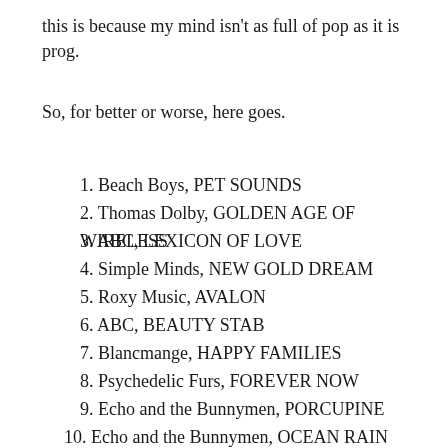this is because my mind isn't as full of pop as it is prog.
So, for better or worse, here goes.
1. Beach Boys, PET SOUNDS
2. Thomas Dolby, GOLDEN AGE OF WIRELESS
3. ABC, LEXICON OF LOVE
4. Simple Minds, NEW GOLD DREAM
5. Roxy Music, AVALON
6. ABC, BEAUTY STAB
7. Blancmange, HAPPY FAMILIES
8. Psychedelic Furs, FOREVER NOW
9. Echo and the Bunnymen, PORCUPINE
10. Echo and the Bunnymen, OCEAN RAIN
11. Simple Minds, SPARKLE IN THE RAIN
12. Talk Talk, IT'S MY LIFE
13. Big Country, STEELTOWN